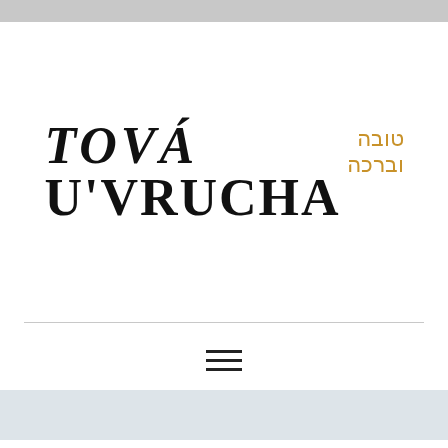[Figure (logo): Tova U'Vrucha logo with large black serif English text 'TOVA U'VRUCHA' and smaller golden Hebrew text 'טובה וברכה' to the upper right]